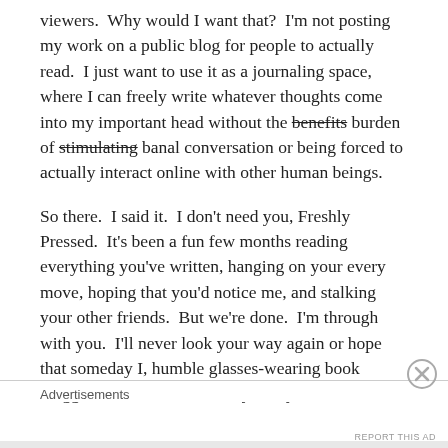viewers.  Why would I want that?  I'm not posting my work on a public blog for people to actually read.  I just want to use it as a journaling space, where I can freely write whatever thoughts come into my important head without the benefits burden of stimulating banal conversation or being forced to actually interact online with other human beings.
So there.  I said it.  I don't need you, Freshly Pressed.  It's been a fun few months reading everything you've written, hanging on your every move, hoping that you'd notice me, and stalking your other friends.  But we're done.  I'm through with you.  I'll never look your way again or hope that someday I, humble glasses-wearing book blogger that I am, will catch your eye.
Advertisements